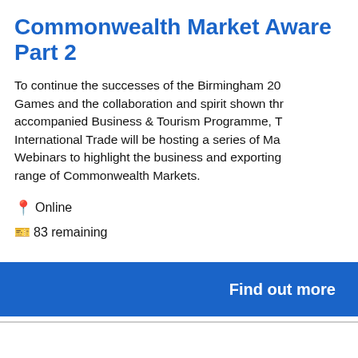Commonwealth Market Awareness Part 2
To continue the successes of the Birmingham 20 Games and the collaboration and spirit shown th accompanied Business & Tourism Programme, T International Trade will be hosting a series of Ma Webinars to highlight the business and exporting range of Commonwealth Markets.
Online
83 remaining
Find out more